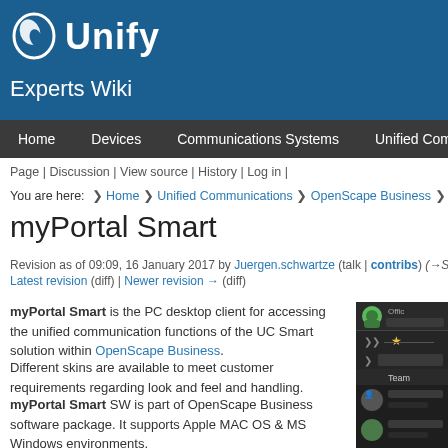[Figure (logo): Unify logo with swirl icon on blue background header]
Experts Wiki
Home | Devices | Communications Systems | Unified Communications
Page | Discussion | View source | History | Log in |
You are here: > Home > Unified Communications > OpenScape Business > myPortal Sm…
myPortal Smart
Revision as of 09:09, 16 January 2017 by Juergen.schwartze (talk | contribs) (→Supporte…
Latest revision (diff) | Newer revision → (diff)
myPortal Smart is the PC desktop client for accessing the unified communication functions of the UC Smart solution within OpenScape Business.
Different skins are available to meet customer requirements regarding look and feel and handling.
myPortal Smart SW is part of OpenScape Business software package. It supports Apple MAC OS & MS Windows environments.
The following description refers to OpenScape Business V1R3. Deviations may occur for previous or subsequent versions of OpenScape Business.
[Figure (screenshot): Screenshot of myPortal Smart application showing Office status, Team section with user avatars]